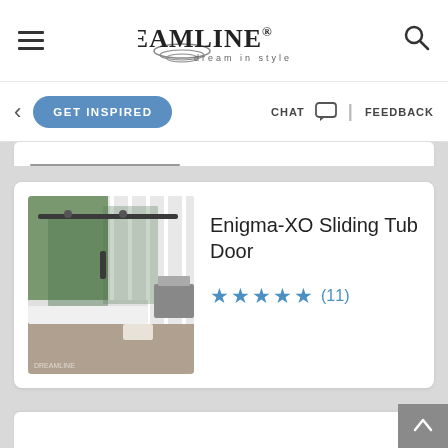[Figure (logo): DreamLine logo with swoosh graphic and tagline 'dream in style']
DreamLine® dream in style
GET INSPIRED
CHAT | FEEDBACK
[Figure (photo): Bathroom with Enigma-XO Sliding Tub Door installed, green tiled walls, dark hardware]
Enigma-XO Sliding Tub Door
★★★★★ (11)